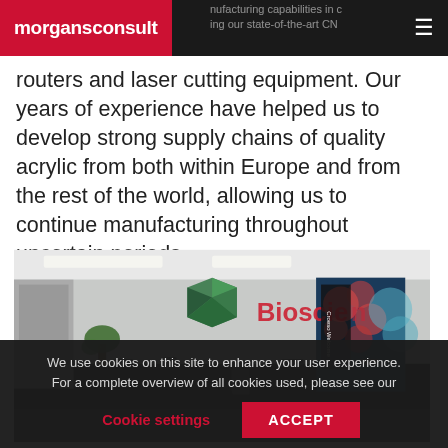morgansconsult
routers and laser cutting equipment. Our years of experience have helped us to develop strong supply chains of quality acrylic from both within Europe and from the rest of the world, allowing us to continue manufacturing throughout uncertain periods.
[Figure (photo): Interior of a laboratory or reception area with a long dark counter, plant, chairs, acrylic display stands, and a large 'Bioscience' branded display with colorful cell imagery and 'Croeso Welcome' signage.]
We use cookies on this site to enhance your user experience. For a complete overview of all cookies used, please see our
Cookie settings   ACCEPT